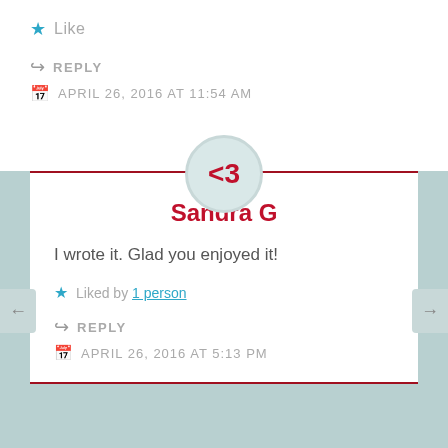Like
REPLY
APRIL 26, 2016 AT 11:54 AM
Sandra G
I wrote it. Glad you enjoyed it!
Liked by 1 person
REPLY
APRIL 26, 2016 AT 5:13 PM